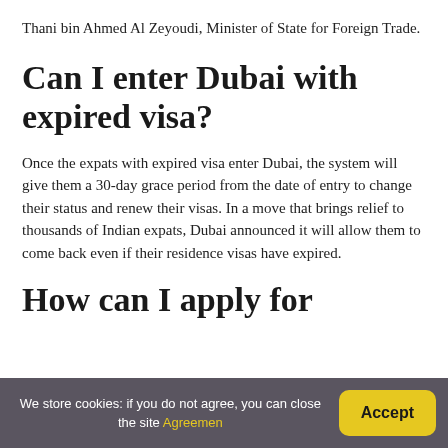Thani bin Ahmed Al Zeyoudi, Minister of State for Foreign Trade.
Can I enter Dubai with expired visa?
Once the expats with expired visa enter Dubai, the system will give them a 30-day grace period from the date of entry to change their status and renew their visas. In a move that brings relief to thousands of Indian expats, Dubai announced it will allow them to come back even if their residence visas have expired.
How can I apply for
We store cookies: if you do not agree, you can close the site Agreemen